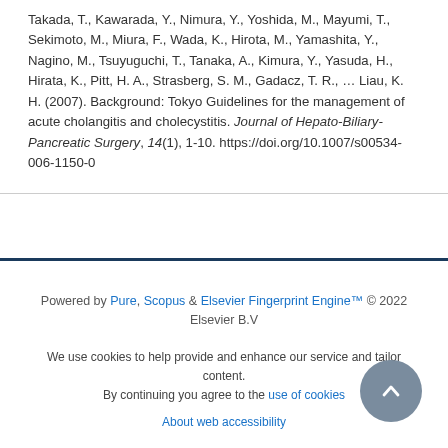Takada, T., Kawarada, Y., Nimura, Y., Yoshida, M., Mayumi, T., Sekimoto, M., Miura, F., Wada, K., Hirota, M., Yamashita, Y., Nagino, M., Tsuyuguchi, T., Tanaka, A., Kimura, Y., Yasuda, H., Hirata, K., Pitt, H. A., Strasberg, S. M., Gadacz, T. R., ... Liau, K. H. (2007). Background: Tokyo Guidelines for the management of acute cholangitis and cholecystitis. Journal of Hepato-Biliary-Pancreatic Surgery, 14(1), 1-10. https://doi.org/10.1007/s00534-006-1150-0
Powered by Pure, Scopus & Elsevier Fingerprint Engine™ © 2022 Elsevier B.V
We use cookies to help provide and enhance our service and tailor content. By continuing you agree to the use of cookies
About web accessibility